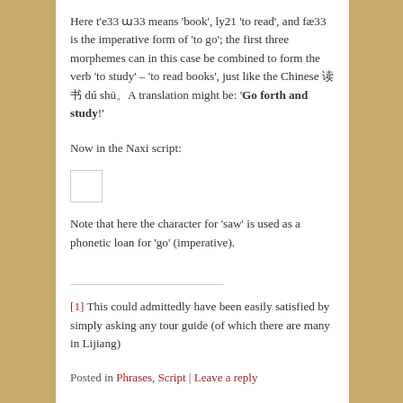Here t'e33 ɯ33 means 'book', ly21 'to read', and fæ33 is the imperative form of 'to go'; the first three morphemes can in this case be combined to form the verb 'to study' – 'to read books', just like the Chinese 读书 dú shū。A translation might be: 'Go forth and study!'
Now in the Naxi script:
[Figure (other): Small placeholder box representing Naxi script characters]
Note that here the character for 'saw' is used as a phonetic loan for 'go' (imperative).
[1] This could admittedly have been easily satisfied by simply asking any tour guide (of which there are many in Lijiang)
Posted in Phrases, Script | Leave a reply